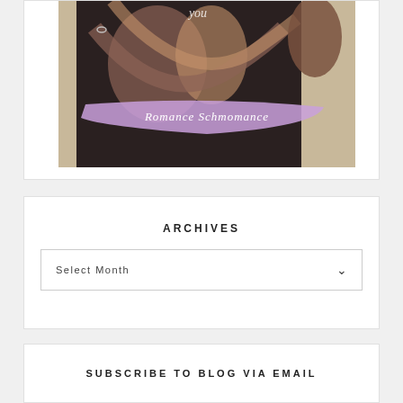[Figure (photo): A book cover held by hands showing romantic couple image with text 'Romance Schmomance' on a purple/lavender brush stroke banner]
ARCHIVES
Select Month
SUBSCRIBE TO BLOG VIA EMAIL